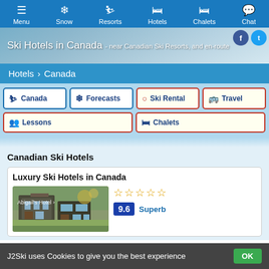Menu  Snow  Resorts  Hotels  Chalets  Chat
Ski Hotels in Canada - near Canadian Ski Resorts, and en-route
Hotels > Canada
Canada
Forecasts
Ski Rental
Travel
Lessons
Chalets
Canadian Ski Hotels
Luxury Ski Hotels in Canada
Abigail's Hotel
9.6  Superb
J2Ski uses Cookies to give you the best experience  OK